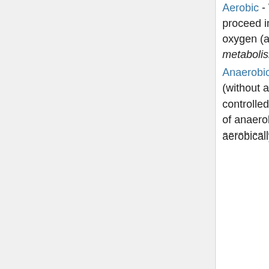Aerobic - Whereas anaerobic metabolism may proceed in the absence or presence of oxygen (anoxic or oxic conditions), aerobic metabolism is restricted to oxic conditions.
Anaerobic - "In zoophysiology, 'anaerobic' (without air) is rarely defined in terms of controlled measurements of the actual extent of anaerobic conditions [2]. "In contrast to the aerobically balanced metabolism of